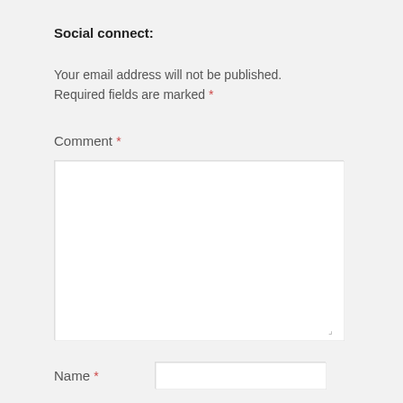Social connect:
Your email address will not be published. Required fields are marked *
Comment *
[Figure (other): Empty comment textarea input box]
Name *
[Figure (other): Empty name text input box]